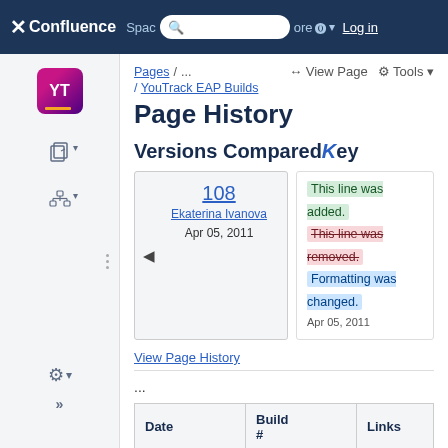Confluence  Spaces  [search]  More  Log in
Pages / ... / YouTrack EAP Builds
View Page  Tools
Page History
Versions Compared  Key
| 108 | Ekaterina Ivanova | Apr 05, 2011 |
| This line was added. | This line was removed. | Formatting was changed. | Apr 05, 2011 |
View Page History
...
| Date | Build # | Links |
| --- | --- | --- |